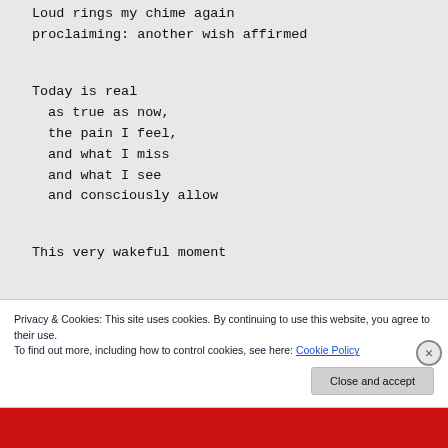Loud rings my chime again
proclaiming: another wish affirmed
Today is real
  as true as now,
  the pain I feel,
  and what I miss
  and what I see
  and consciously allow
This very wakeful moment
Privacy & Cookies: This site uses cookies. By continuing to use this website, you agree to their use.
To find out more, including how to control cookies, see here: Cookie Policy